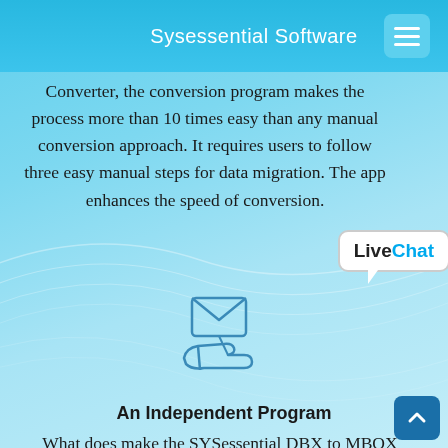Sysessential Software
Converter, the conversion program makes the process more than 10 times easy than any manual conversion approach. It requires users to follow three easy manual steps for data migration. The app enhances the speed of conversion.
[Figure (illustration): LiveChat speech bubble widget with 'Live' in black bold and 'Chat' in blue bold]
[Figure (illustration): Hand holding an envelope icon, drawn in blue outline style]
An Independent Program
What does make the SYSessential DBX to MBOX Converter an advanced program? It is its independent conversion capacity. The program independent. It doesn't need pre-installation of